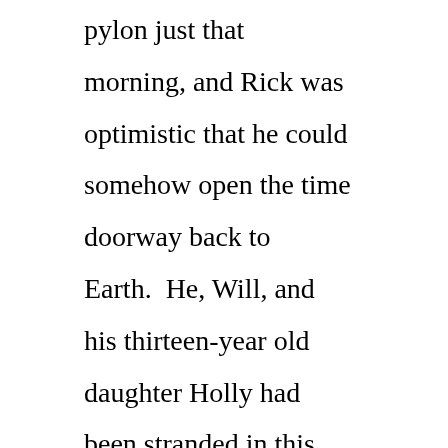pylon just that morning, and Rick was optimistic that he could somehow open the time doorway back to Earth.  He, Will, and his thirteen-year old daughter Holly had been stranded in this place for what seemed like an eternity.

Rick thought back to that fateful day when he took his family on a